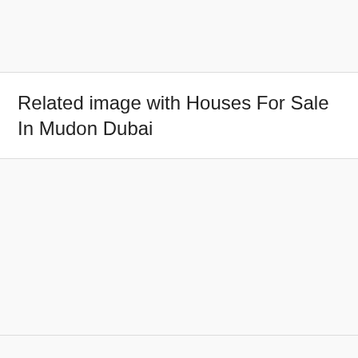[Figure (other): Top white/light gray card area, partially visible at top of page]
Related image with Houses For Sale In Mudon Dubai
[Figure (photo): Large white/light gray image card area, blank placeholder for related image of Houses For Sale In Mudon Dubai]
[Figure (other): Bottom white/light gray card area, partially visible at bottom of page]